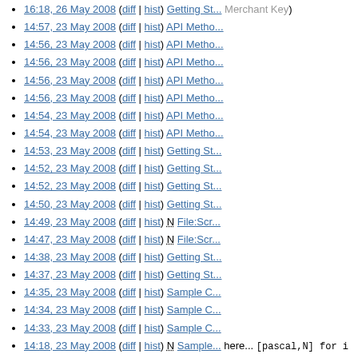16:18, 26 May 2008 (diff | hist) Getting St... Merchant Key)
14:57, 23 May 2008 (diff | hist) API Metho...
14:56, 23 May 2008 (diff | hist) API Metho...
14:56, 23 May 2008 (diff | hist) API Metho...
14:56, 23 May 2008 (diff | hist) API Metho...
14:56, 23 May 2008 (diff | hist) API Metho...
14:54, 23 May 2008 (diff | hist) API Metho...
14:54, 23 May 2008 (diff | hist) API Metho...
14:53, 23 May 2008 (diff | hist) Getting St...
14:52, 23 May 2008 (diff | hist) Getting St...
14:52, 23 May 2008 (diff | hist) Getting St...
14:50, 23 May 2008 (diff | hist) Getting St...
14:49, 23 May 2008 (diff | hist) N File:Scr...
14:47, 23 May 2008 (diff | hist) N File:Scr...
14:38, 23 May 2008 (diff | hist) Getting St...
14:37, 23 May 2008 (diff | hist) Getting St...
14:35, 23 May 2008 (diff | hist) Sample C...
14:34, 23 May 2008 (diff | hist) Sample C...
14:33, 23 May 2008 (diff | hist) Sample C...
14:18, 23 May 2008 (diff | hist) N Sample... here... <code>[pascal,N] for i := 0 to high... '+myArray[i]+'!'); end; </code>)
14:14, 23 May 2008 (diff | hist) N API Mo...